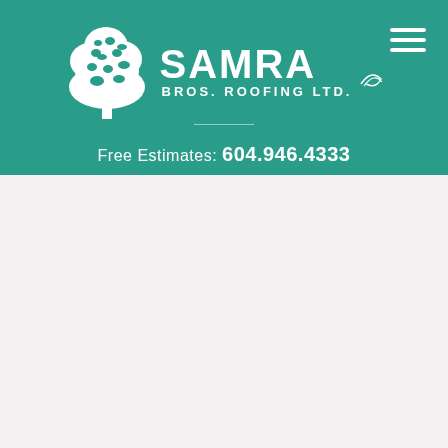[Figure (logo): Samra Bros. Roofing Ltd. company logo with white tree illustration and company name text on teal/green background header]
Free Estimates: 604.946.4333